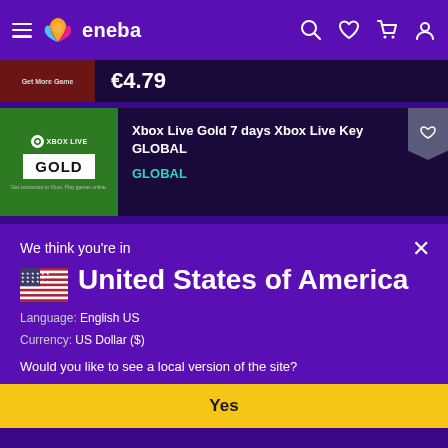[Figure (screenshot): Eneba website navigation bar with hamburger menu, Eneba logo (colorful flame icon), and right-side icons for search, wishlist, cart, and account]
[Figure (screenshot): Product listing strip showing price €4.79 on dark purple background with a thumbnail image]
[Figure (screenshot): Xbox Live Gold 7 days Xbox Live Key GLOBAL product card with green Xbox Live Gold thumbnail image and wishlist bookmark button]
Xbox Live Gold 7 days Xbox Live Key GLOBAL
GLOBAL
We think you're in
United States of America
Language: English US
Currency: US Dollar ($)
Would you like to see a local version of the site?
Yes